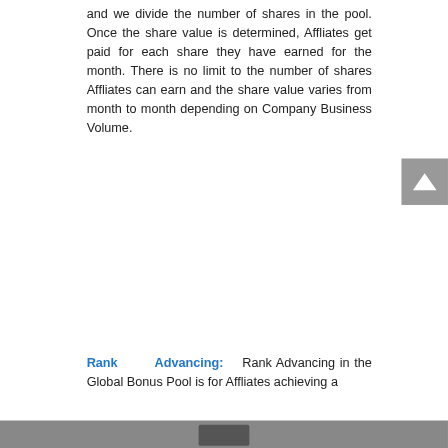and we divide the number of shares in the pool. Once the share value is determined, Affliates get paid for each share they have earned for the month. There is no limit to the number of shares Affliates can earn and the share value varies from month to month depending on Company Business Volume.
Rank Advancing: Rank Advancing in the Global Bonus Pool is for Affliates achieving a minimum of t... ate Rank
Rank Advancing in the Global Bonus Pool is for Affliates achieving a minimum of t...iate Rank